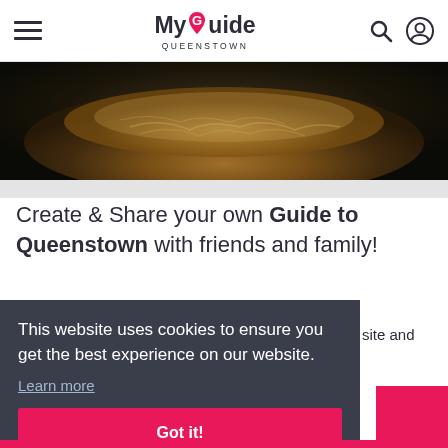My Guide Queenstown
[Figure (photo): Close-up photo of food in a dark bowl/pan, appears to be a noodle or rice dish, dark moody lighting]
Create & Share your own Guide to Queenstown with friends and family!
site and
This website uses cookies to ensure you get the best experience on our website. Learn more
Got it!